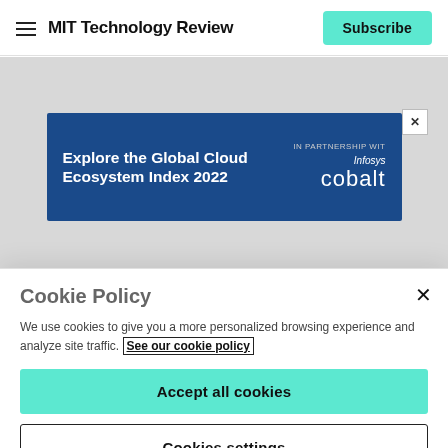MIT Technology Review | Subscribe
[Figure (infographic): Advertisement banner on a gray background: 'Explore the Global Cloud Ecosystem Index 2022' in partnership with Infosys cobalt, with a close button]
Cookie Policy
We use cookies to give you a more personalized browsing experience and analyze site traffic. See our cookie policy
Accept all cookies
Cookies settings